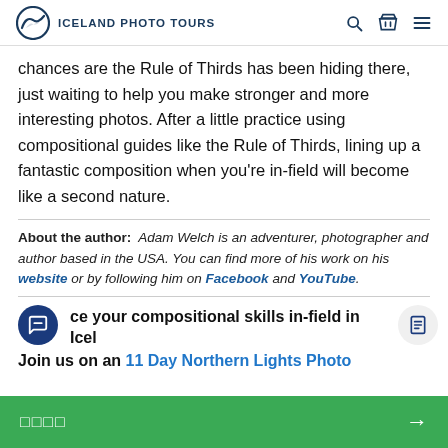ICELAND PHOTO TOURS
chances are the Rule of Thirds has been hiding there, just waiting to help you make stronger and more interesting photos. After a little practice using compositional guides like the Rule of Thirds, lining up a fantastic composition when you're in-field will become like a second nature.
About the author: Adam Welch is an adventurer, photographer and author based in the USA. You can find more of his work on his website or by following him on Facebook and YouTube.
ce your compositional skills in-field in Iceland. Join us on an 11 Day Northern Lights Photo
□□□□